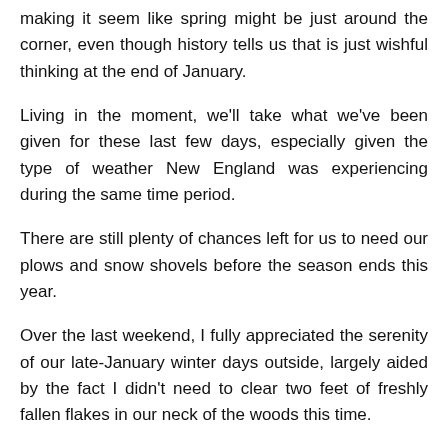making it seem like spring might be just around the corner, even though history tells us that is just wishful thinking at the end of January.
Living in the moment, we'll take what we've been given for these last few days, especially given the type of weather New England was experiencing during the same time period.
There are still plenty of chances left for us to need our plows and snow shovels before the season ends this year.
Over the last weekend, I fully appreciated the serenity of our late-January winter days outside, largely aided by the fact I didn't need to clear two feet of freshly fallen flakes in our neck of the woods this time.